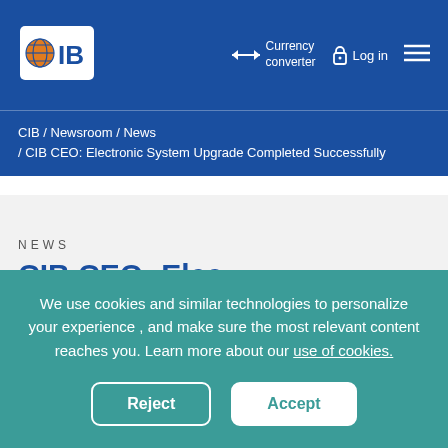[Figure (logo): CIB bank logo — white square with globe icon and letters CIB]
Currency converter   Log in   ☰
CIB /  Newsroom /  News  /  CIB CEO: Electronic System Upgrade Completed Successfully
NEWS
We use cookies and similar technologies to personalize your experience , and make sure the most relevant content reaches you. Learn more about our use of cookies.